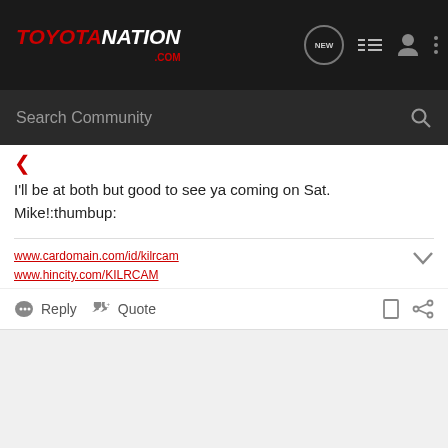TOYOTANATION.COM — header navigation bar with search
I'll be at both but good to see ya coming on Sat. Mike!:thumbup:
www.cardomain.com/id/kilrcam
www.hincity.com/KILRCAM
Reply   Quote